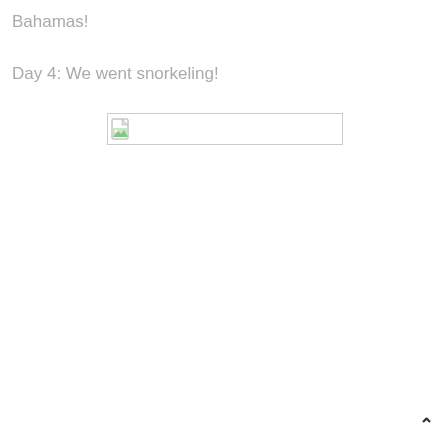Bahamas!
Day 4: We went snorkeling!
[Figure (photo): Broken/placeholder image icon with a thin rectangular border, representing a missing or unloaded photo]
↑